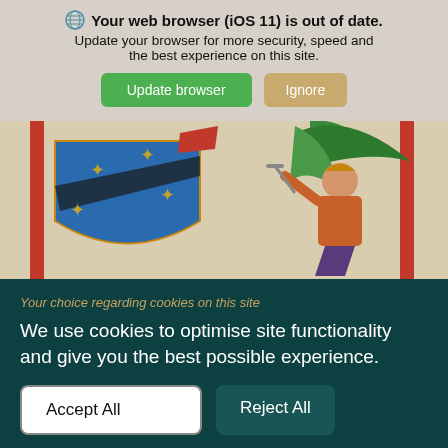Your web browser (iOS 11) is out of date. Update your browser for more security, speed and the best experience on this site.
[Figure (screenshot): Browser update notification bar with Update browser (green) and Ignore (tan) buttons]
[Figure (illustration): Medieval manuscript illumination showing a knight with a sword and a decorative heraldic shield on a parchment background]
Your choice regarding cookies on this site
We use cookies to optimise site functionality and give you the best possible experience.
Accept All
Reject All
Cookie Preferences